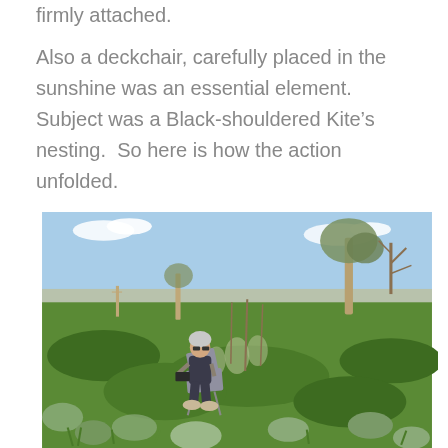firmly attached.
Also a deckchair, carefully placed in the sunshine was an essential element.  Subject was a Black-shouldered Kite's nesting.  So here is how the action unfolded.
[Figure (photo): A person wearing a beanie hat and dark vest sits in a deckchair outdoors in a grassy, scrubby landscape with sparse trees and a blue sky. They appear to be birdwatching or photographing wildlife.]